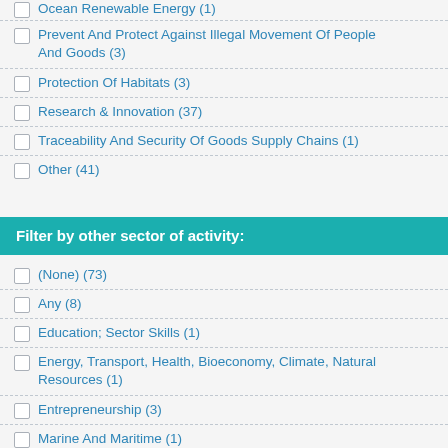Prevent And Protect Against Illegal Movement Of People And Goods (3)
Protection Of Habitats (3)
Research & Innovation (37)
Traceability And Security Of Goods Supply Chains (1)
Other (41)
Filter by other sector of activity:
(None) (73)
Any (8)
Education; Sector Skills (1)
Energy, Transport, Health, Bioeconomy, Climate, Natural Resources (1)
Entrepreneurship (3)
Marine And Maritime (1)